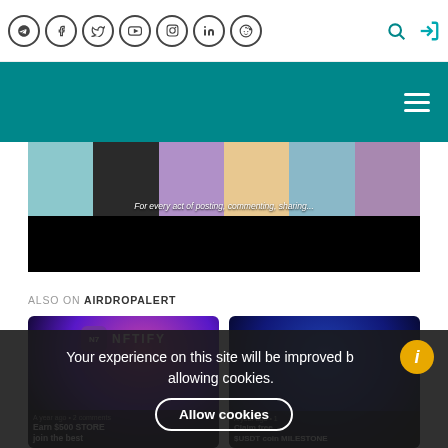Social icons: Telegram, Facebook, Twitter, YouTube, Instagram, LinkedIn, Reddit; Search and Login icons
Navigation bar with hamburger menu
[Figure (screenshot): Partially visible animated/illustrated video still with cartoon characters and caption text 'For every act of posting, commenting, sharing']
ALSO ON AIRDROPALERT
[Figure (screenshot): NFTIFY promotional card with logo and text about NFTIFY platform]
[Figure (screenshot): Second promotional card with dark blue background]
Your experience on this site will be improved by allowing cookies.
Allow cookies